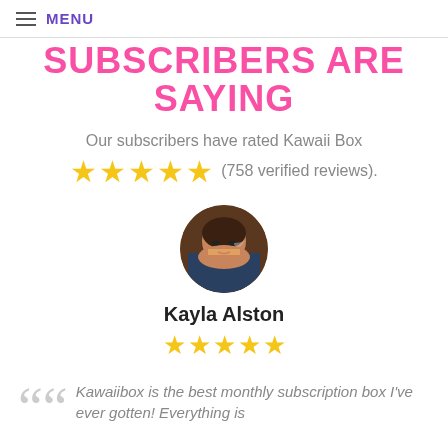≡ MENU
SUBSCRIBERS ARE SAYING
Our subscribers have rated Kawaii Box ★★★★★ (758 verified reviews).
[Figure (photo): Circular avatar photo of Kayla Alston holding a Kawaii Box]
Kayla Alston
★★★★★
Kawaiibox is the best monthly subscription box I've ever gotten! Everything is